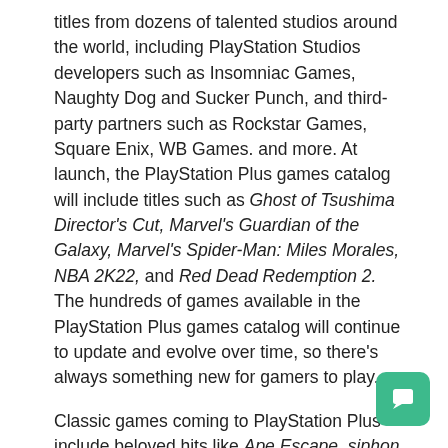titles from dozens of talented studios around the world, including PlayStation Studios developers such as Insomniac Games, Naughty Dog and Sucker Punch, and third-party partners such as Rockstar Games, Square Enix, WB Games. and more. At launch, the PlayStation Plus games catalog will include titles such as Ghost of Tsushima Director's Cut, Marvel's Guardian of the Galaxy, Marvel's Spider-Man: Miles Morales, NBA 2K22, and Red Dead Redemption 2. The hundreds of games available in the PlayStation Plus games catalog will continue to update and evolve over time, so there's always something new for gamers to play.
Classic games coming to PlayStation Plus include beloved hits like Ape Escape, siphon filter and tekken 2. Some of these classic games will show improved frame rates and higher quality resolution than its original launch versions. Additionally, select games from the original PlayStation and PSP generation will include a new user experience with menus allowing players to save their game at any time, or even rewind the game to replay a specific section.
With each regional launch, the current cloud-based subscription gaming service, PlayStation®Now, will transition to the new